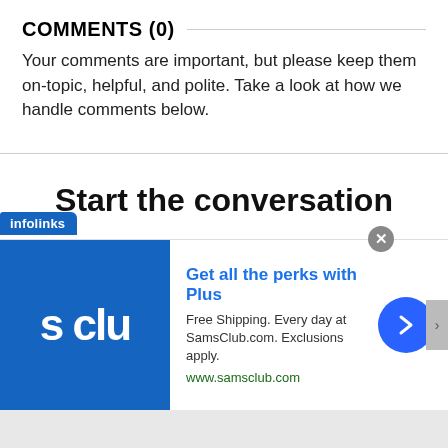COMMENTS (0)
Your comments are important, but please keep them on-topic, helpful, and polite. Take a look at how we handle comments below.
Start the conversation
Become a member of Mexicanist to start commenting.
[Figure (screenshot): Infolinks advertisement banner for Sam's Club Plus membership. Shows blue Sam's Club logo on left, ad text 'Get all the perks with Plus', 'Free Shipping. Every day at SamsClub.com. Exclusions apply.' and 'www.samsclub.com', with a blue circle arrow button on right.]